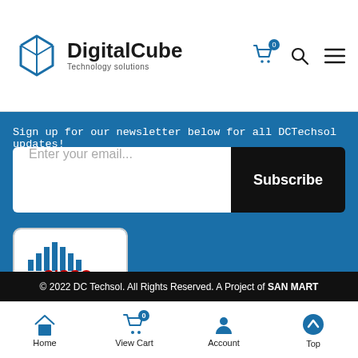[Figure (logo): Digital Cube Technology Solutions logo - blue cube outline icon with 'DigitalCube Technology solutions' text]
[Figure (infographic): Shopping cart icon with badge showing 0, search icon, and hamburger menu icon]
Sign up for our newsletter below for all DCTechsol updates!
[Figure (screenshot): Email subscription form with placeholder 'Enter your email...' and Subscribe button]
[Figure (logo): Cisco Partner - Registered Partner badge with Cisco logo bars and text]
© 2022 DC Techsol. All Rights Reserved. A Project of SAN MART
[Figure (infographic): Bottom navigation bar with Home, View Cart (badge 0), Account, Top icons]